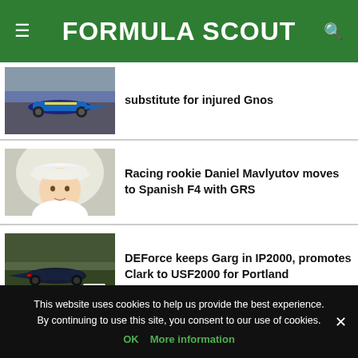FORMULA SCOUT
substitute for injured Gnos
Racing rookie Daniel Mavlyutov moves to Spanish F4 with GRS
DEForce keeps Garg in IP2000, promotes Clark to USF2000 for Portland
This website uses cookies to help us provide the best experience. By continuing to use this site, you consent to our use of cookies.
OK  More information